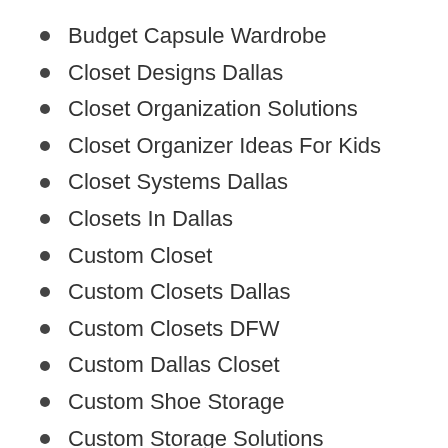Budget Capsule Wardrobe
Closet Designs Dallas
Closet Organization Solutions
Closet Organizer Ideas For Kids
Closet Systems Dallas
Closets In Dallas
Custom Closet
Custom Closets Dallas
Custom Closets DFW
Custom Dallas Closet
Custom Shoe Storage
Custom Storage Solutions
Custom Wall Closets Bedroom